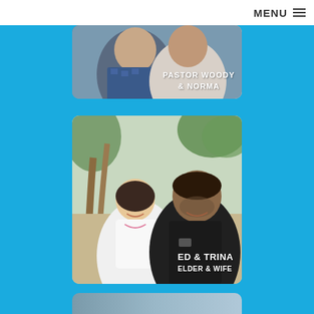MENU
[Figure (photo): Photo of Pastor Woody and Norma couple, partially cropped, with label 'PASTOR WOODY & NORMA' overlaid in white bold text on bottom right]
[Figure (photo): Photo of Ed and Trina (Elder and Wife) standing outdoors near palm trees, smiling, with label 'ED & TRINA ELDER & WIFE' overlaid in white bold text on bottom right]
[Figure (photo): Partially visible photo at the bottom of the page, cropped]